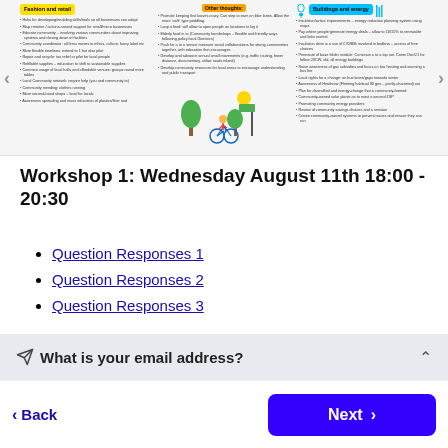[Figure (infographic): A three-column infographic slide about community topics: Fashion and retail (yellow header), Other thoughts (orange header, center with cycling illustration), and Buildings and energy (blue header). Each column has bullet points of text.]
Workshop 1: Wednesday August 11th 18:00 - 20:30
Question Responses 1
Question Responses 2
Question Responses 3
✈ What is your email address? ∧
< Back
Next >